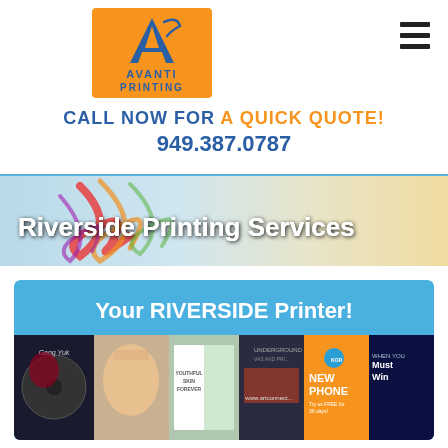[Figure (logo): Avanti Printing logo — orange square background with stylized blue letter A and 'AVANTI PRINTING' text in blue]
CALL NOW FOR A QUICK QUOTE!
949.387.0787
[Figure (illustration): Horizontal banner with colorful ribbon swirls on a light gradient background, text reads 'Riverside Printing Services']
[Figure (illustration): Promotional collage panel with sky blue header 'Your RIVERSIDE Printer!' and collage of printed materials: magazines, cd/vinyl disc, brochures, skin care booklet, and advertisement designs]